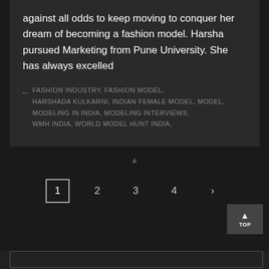against all odds to keep moving to conquer her dream of becoming a fashion model. Harsha pursued Marketing from Pune University. She has always excelled
FASHION INDUSTRY, FASHION MODEL, HARSHADA KULKARNI, INDIAN FEMALE MODEL, MODEL, MODELING IN INDIA, MODELING INTERVIEWS, WMH INDIA, WORLD MODEL HUNT INDIA,
1  2  3  4  ›
TOP